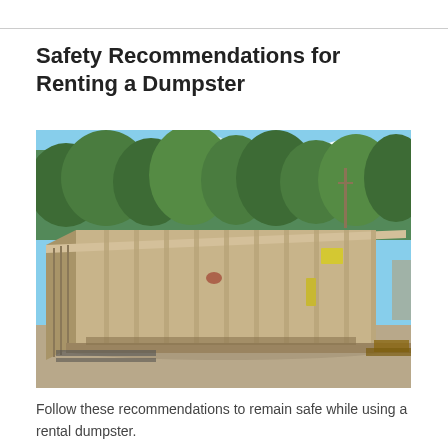Safety Recommendations for Renting a Dumpster
[Figure (photo): A large tan/beige roll-off dumpster container sitting on a gravel/dirt surface outdoors, with trees and a blue sky with white clouds visible in the background.]
Follow these recommendations to remain safe while using a rental dumpster.